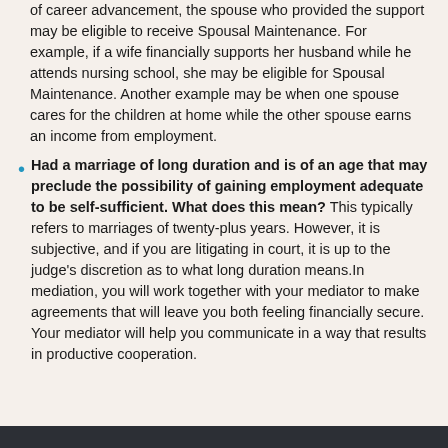of career advancement, the spouse who provided the support may be eligible to receive Spousal Maintenance. For example, if a wife financially supports her husband while he attends nursing school, she may be eligible for Spousal Maintenance. Another example may be when one spouse cares for the children at home while the other spouse earns an income from employment.
Had a marriage of long duration and is of an age that may preclude the possibility of gaining employment adequate to be self-sufficient. What does this mean? This typically refers to marriages of twenty-plus years. However, it is subjective, and if you are litigating in court, it is up to the judge's discretion as to what long duration means.In mediation, you will work together with your mediator to make agreements that will leave you both feeling financially secure. Your mediator will help you communicate in a way that results in productive cooperation.